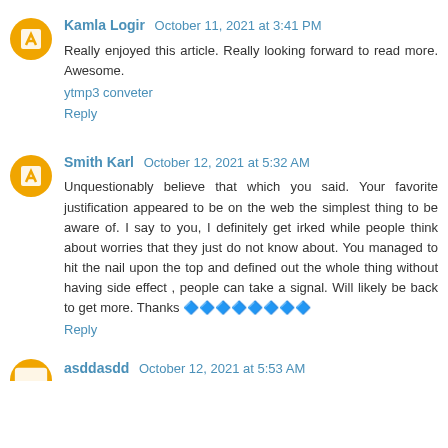Kamla Logir  October 11, 2021 at 3:41 PM
Really enjoyed this article. Really looking forward to read more. Awesome.
ytmp3 conveter
Reply
Smith Karl  October 12, 2021 at 5:32 AM
Unquestionably believe that which you said. Your favorite justification appeared to be on the web the simplest thing to be aware of. I say to you, I definitely get irked while people think about worries that they just do not know about. You managed to hit the nail upon the top and defined out the whole thing without having side effect , people can take a signal. Will likely be back to get more. Thanks 🔷🔷🔷🔷🔷🔷🔷🔷
Reply
asddasdd  October 12, 2021 at 5:53 AM